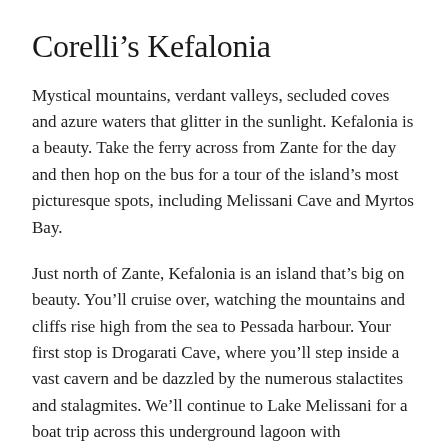Corelli’s Kefalonia
Mystical mountains, verdant valleys, secluded coves and azure waters that glitter in the sunlight. Kefalonia is a beauty. Take the ferry across from Zante for the day and then hop on the bus for a tour of the island’s most picturesque spots, including Melissani Cave and Myrtos Bay.
Just north of Zante, Kefalonia is an island that’s big on beauty. You’ll cruise over, watching the mountains and cliffs rise high from the sea to Pessada harbour. Your first stop is Drogarati Cave, where you’ll step inside a vast cavern and be dazzled by the numerous stalactites and stalagmites. We’ll continue to Lake Melissani for a boat trip across this underground lagoon with aquamarine waters that glisten in the sun.